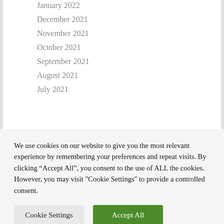January 2022
December 2021
November 2021
October 2021
September 2021
August 2021
July 2021
We use cookies on our website to give you the most relevant experience by remembering your preferences and repeat visits. By clicking “Accept All”, you consent to the use of ALL the cookies. However, you may visit "Cookie Settings" to provide a controlled consent.
Cookie Settings | Accept All